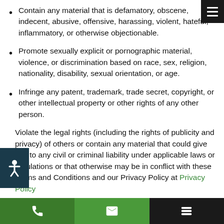Contain any material that is defamatory, obscene, indecent, abusive, offensive, harassing, violent, hateful, inflammatory, or otherwise objectionable.
Promote sexually explicit or pornographic material, violence, or discrimination based on race, sex, religion, nationality, disability, sexual orientation, or age.
Infringe any patent, trademark, trade secret, copyright, or other intellectual property or other rights of any other person.
Violate the legal rights (including the rights of publicity and privacy) of others or contain any material that could give rise to any civil or criminal liability under applicable laws or regulations or that otherwise may be in conflict with these Terms and Conditions and our Privacy Policy at Privacy Policy
Be likely to deceive any person.
Promote any illegal activity, or advocate, promote, or...